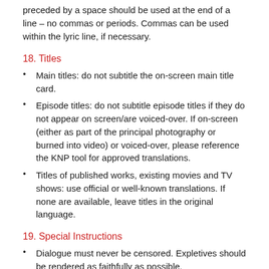preceded by a space should be used at the end of a line – no commas or periods. Commas can be used within the lyric line, if necessary.
18. Titles
Main titles: do not subtitle the on-screen main title card.
Episode titles: do not subtitle episode titles if they do not appear on screen/are voiced-over. If on-screen (either as part of the principal photography or burned into video) or voiced-over, please reference the KNP tool for approved translations.
Titles of published works, existing movies and TV shows: use official or well-known translations. If none are available, leave titles in the original language.
19. Special Instructions
Dialogue must never be censored. Expletives should be rendered as faithfully as possible.
Plot-pertinent dialogue always takes precedence over background dialogue.
Deliberate misspellings and mispronunciations should not be reproduced in the translation unless plot pertinent.